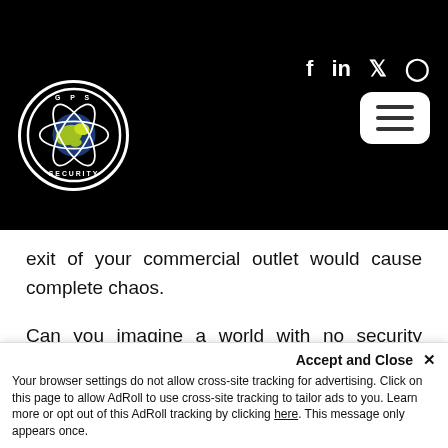[Figure (logo): GPS Security logo — globe with orbiting lines inside a white circle with 'GPS SECURITY' text, on black navigation bar background. Social media icons (Facebook, LinkedIn, Twitter, Instagram) and hamburger menu button on the right.]
exit of your commercial outlet would cause complete chaos.
Can you imagine a world with no security guards in place to protect you and your business? Let's see what would have been the outcomes of not having any security guard companies around us.
Walk–In And Walk Out At Will
Accept and Close ✕ Your browser settings do not allow cross-site tracking for advertising. Click on this page to allow AdRoll to use cross-site tracking to tailor ads to you. Learn more or opt out of this AdRoll tracking by clicking here. This message only appears once.